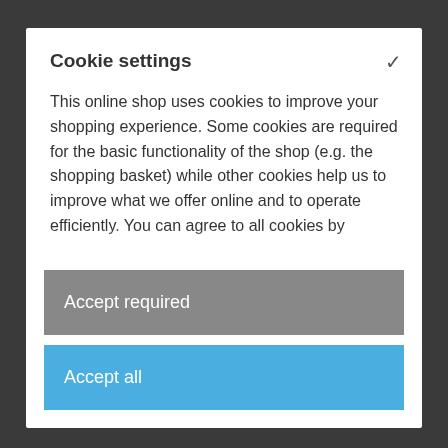Cookie settings
This online shop uses cookies to improve your shopping experience. Some cookies are required for the basic functionality of the shop (e.g. the shopping basket) while other cookies help us to improve what we offer online and to operate efficiently. You can agree to all cookies by
Accept required
Accept all